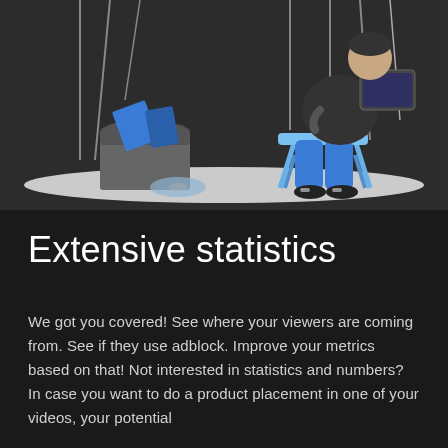[Figure (illustration): Dark background illustration showing a person sitting on a stool working at a desk/workstation, with a box containing blue items (books/folders) and a disc on the floor nearby. Vertical lines/strings hang from above. The scene has a dark charcoal background with blue, gray and white tones.]
Extensive statistics
We got you covered! See where your viewers are coming from. See if they use adblock. Improve your metrics based on that! Not interested in statistics and numbers? In case you want to do a product placement in one of your videos, your potential